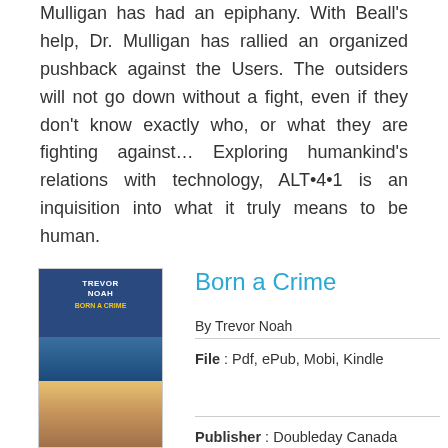Mulligan has had an epiphany. With Beall's help, Dr. Mulligan has rallied an organized pushback against the Users. The outsiders will not go down without a fight, even if they don't know exactly who, or what they are fighting against… Exploring humankind's relations with technology, ALT•4•1 is an inquisition into what it truly means to be human.
Born a Crime
By Trevor Noah
[Figure (illustration): Book cover of 'Born a Crime' by Trevor Noah with green READ PDF button below]
File : Pdf, ePub, Mobi, Kindle
Publisher : Doubleday Canada